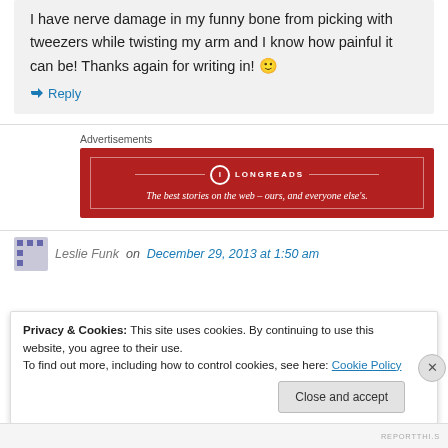I have nerve damage in my funny bone from picking with tweezers while twisting my arm and I know how painful it can be! Thanks again for writing in! 🙂
↳ Reply
Advertisements
[Figure (other): Longreads advertisement banner: red background with white border, logo and tagline 'The best stories on the web – ours, and everyone else's.']
Leslie Funk on December 29, 2013 at 1:50 am
Privacy & Cookies: This site uses cookies. By continuing to use this website, you agree to their use.
To find out more, including how to control cookies, see here: Cookie Policy
Close and accept